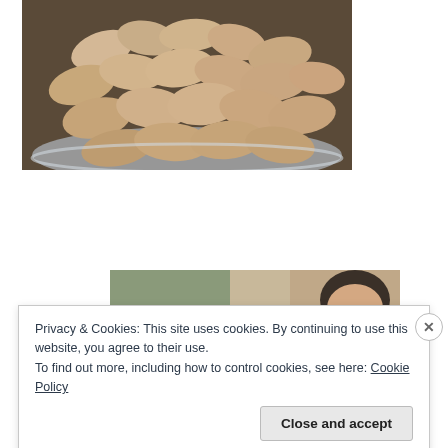[Figure (photo): A tray of dumplings or pierogi-style pastries arranged on a silver foil tray, viewed from above at an angle.]
[Figure (photo): Partial view of a person in a kitchen or indoor setting, visible from the shoulders up on the right side.]
Privacy & Cookies: This site uses cookies. By continuing to use this website, you agree to their use.
To find out more, including how to control cookies, see here: Cookie Policy
Close and accept